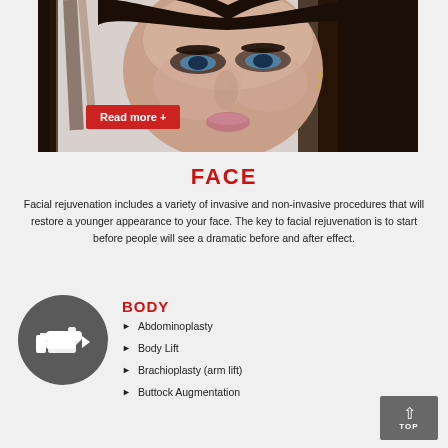[Figure (photo): Close-up photo of a young woman's face with dark hair, smoky eye makeup, and glossy lips — used as a facial rejuvenation promotional image. A red 'Read more +' button overlays the lower left of the image.]
FACE
Facial rejuvenation includes a variety of invasive and non-invasive procedures that will restore a younger appearance to your face. The key to facial rejuvenation is to start before people will see a dramatic before and after effect.
[Figure (illustration): Gray circle with a white hand/finger pointing right icon — used as a decorative bullet for the BODY section.]
BODY
Abdominoplasty
Body Lift
Brachioplasty (arm lift)
Buttock Augmentation